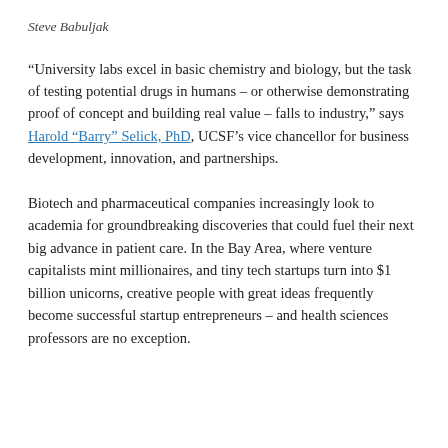Steve Babuljak
“University labs excel in basic chemistry and biology, but the task of testing potential drugs in humans – or otherwise demonstrating proof of concept and building real value – falls to industry,” says Harold “Barry” Selick, PhD, UCSF’s vice chancellor for business development, innovation, and partnerships.
Biotech and pharmaceutical companies increasingly look to academia for groundbreaking discoveries that could fuel their next big advance in patient care. In the Bay Area, where venture capitalists mint millionaires, and tiny tech startups turn into $1 billion unicorns, creative people with great ideas frequently become successful startup entrepreneurs – and health sciences professors are no exception.